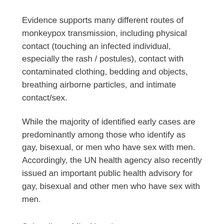Evidence supports many different routes of monkeypox transmission, including physical contact (touching an infected individual, especially the rash / postules), contact with contaminated clothing, bedding and objects, breathing airborne particles, and intimate contact/sex.
While the majority of identified early cases are predominantly among those who identify as gay, bisexual, or men who have sex with men. Accordingly, the UN health agency also recently issued an important public health advisory for gay, bisexual and other men who have sex with men.
Subscribe to Mint Newsletters
* Enter a valid email
* Thank you for subscribing to our newsletter.